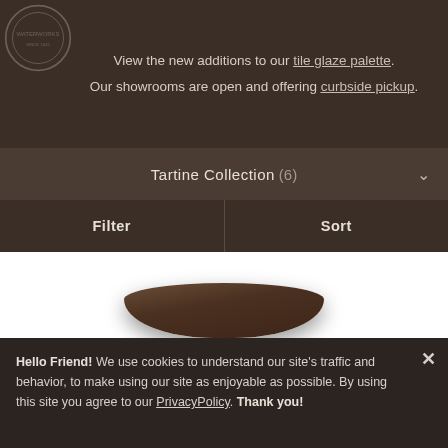[Figure (screenshot): Website header banner with dark brown background, circular logo watermark at top-left, and two lines of text about tile glaze palette and curbside pickup.]
View the new additions to our tile glaze palette. Our showrooms are open and offering curbside pickup.
Tartine Collection (6)
Filter
Sort
[Figure (photo): Product image showing a dark brown ceramic tile or bowl, partially visible at the bottom of the product area.]
Hello Friend!  We use cookies to understand our site's traffic and behavior, to make using our site as enjoyable as possible. By using this site you agree to our PrivacyPolicy. Thank you!